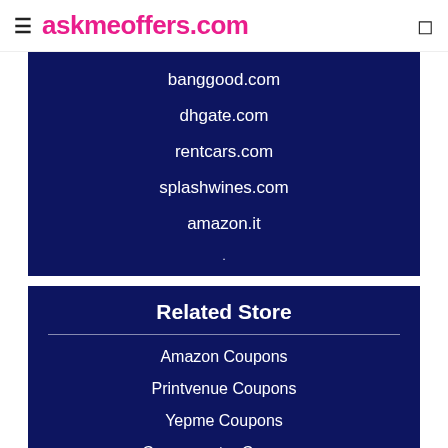≡ askmeoffers.com
banggood.com
dhgate.com
rentcars.com
splashwines.com
amazon.it
Related Store
Amazon Coupons
Printvenue Coupons
Yepme Coupons
Campussutra Coupons
Cbazaar Coupons